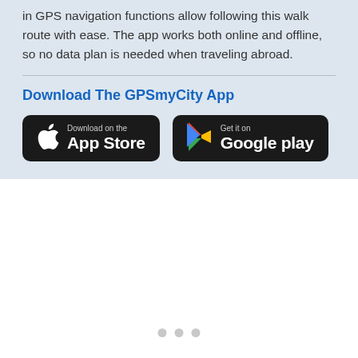in GPS navigation functions allow following this walk route with ease. The app works both online and offline, so no data plan is needed when traveling abroad.
Download The GPSmyCity App
[Figure (other): App Store download badge (black rounded rectangle with Apple logo and 'Download on the App Store' text)]
[Figure (other): Google Play download badge (black rounded rectangle with Google Play triangle logo and 'Get it on Google play' text)]